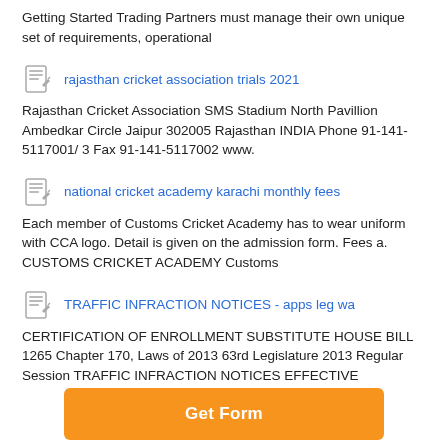Getting Started Trading Partners must manage their own unique set of requirements, operational
rajasthan cricket association trials 2021
Rajasthan Cricket Association SMS Stadium North Pavillion Ambedkar Circle Jaipur 302005 Rajasthan INDIA Phone 91-141-5117001/ 3 Fax 91-141-5117002 www.
national cricket academy karachi monthly fees
Each member of Customs Cricket Academy has to wear uniform with CCA logo. Detail is given on the admission form. Fees a. CUSTOMS CRICKET ACADEMY Customs
TRAFFIC INFRACTION NOTICES - apps leg wa
CERTIFICATION OF ENROLLMENT SUBSTITUTE HOUSE BILL 1265 Chapter 170, Laws of 2013 63rd Legislature 2013 Regular Session TRAFFIC INFRACTION NOTICES EFFECTIVE
Get Form